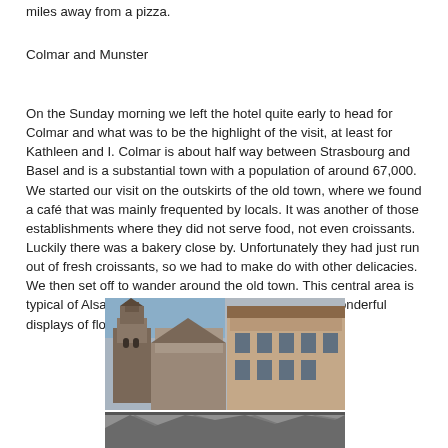miles away from a pizza.
Colmar and Munster
On the Sunday morning we left the hotel quite early to head for Colmar and what was to be the highlight of the visit, at least for Kathleen and I. Colmar is about half way between Strasbourg and Basel and is a substantial town with a population of around 67,000. We started our visit on the outskirts of the old town, where we found a café that was mainly frequented by locals. It was another of those establishments where they did not serve food, not even croissants. Luckily there was a bakery close by. Unfortunately they had just run out of fresh croissants, so we had to make do with other delicacies. We then set off to wander around the old town. This central area is typical of Alsace with its half timbered buildings and wonderful displays of flowers.
[Figure (photo): Composite photograph showing Colmar architecture — half-timbered buildings, a Romanesque church tower, and street scenes typical of Alsace]